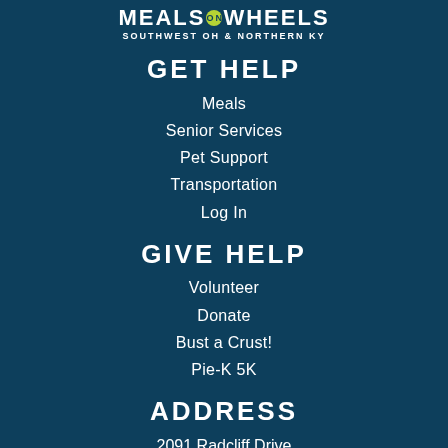[Figure (logo): Meals on Wheels Southwest OH & Northern KY logo with circular badge]
GET HELP
Meals
Senior Services
Pet Support
Transportation
Log In
GIVE HELP
Volunteer
Donate
Bust a Crust!
Pie-K 5K
ADDRESS
2091 Radcliff Drive
Cincinnati, OH 45204